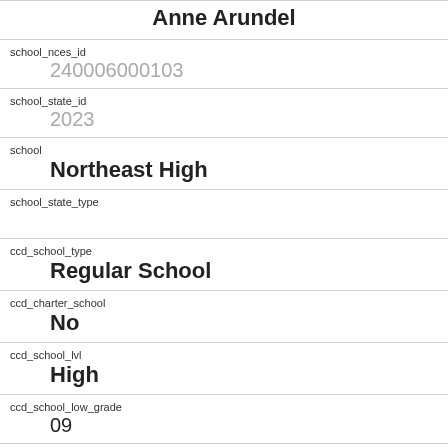| Anne Arundel |
| school_nces_id | 240006000103 |
| school_state_id | 2023 |
| school | Northeast High |
| school_state_type |  |
| ccd_school_type | Regular School |
| ccd_charter_school | No |
| ccd_school_lvl | High |
| ccd_school_low_grade | 09 |
| ccd_school_high_grade | 12 |
| year | 2020 |